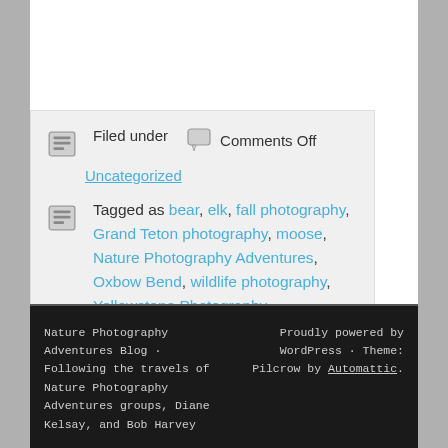Filed under   Comments Off
Uncategorized
Tagged as bear, elk, fall photography, Grand Teton photography, moose, Nature Photography Adventures, Oxbow Bend, wildlife photography, Yellowstone Photography
Comments are closed.
Nature Photography Adventures Blog · Following the travels of Nature Photography Adventures groups, Diane Kelsay, and Bob Harvey   Proudly powered by WordPress · Theme: Pilcrow by Automattic.